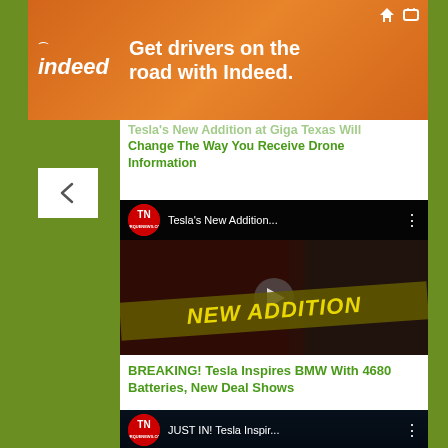[Figure (other): Indeed advertisement banner: orange gradient background with Indeed logo on left and text 'Get drivers on the road with Indeed.' on right]
Tesla's New Addition at Giga Texas Will Change The Way You Receive Drone Information
[Figure (screenshot): YouTube video thumbnail for 'Tesla's New Addition...' showing two people with 'NEW ADDITION' banner overlay, channel logo TN (Torque News)]
BREAKING! Tesla Inspires BMW With 4680 Batteries, New Deal Shows
[Figure (screenshot): YouTube video thumbnail for 'JUST IN! Tesla Inspir...' showing BMW M logo, channel logo TN (Torque News)]